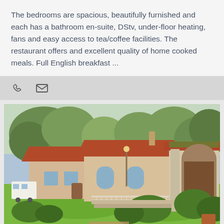The bedrooms are spacious, beautifully furnished and each has a bathroom en-suite, DStv, under-floor heating, fans and easy access to tea/coffee facilities. The restaurant offers and excellent quality of home cooked meals. Full English breakfast ...
[Figure (photo): Icons bar with a phone handset icon and an envelope/email icon on a grey background]
[Figure (photo): Exterior photo of a guesthouse or bed-and-breakfast with red-tiled roofs, white arched columns forming a covered walkway, lush green lawn, garden shrubs, and trees in the background. A caravan is visible on the left.]